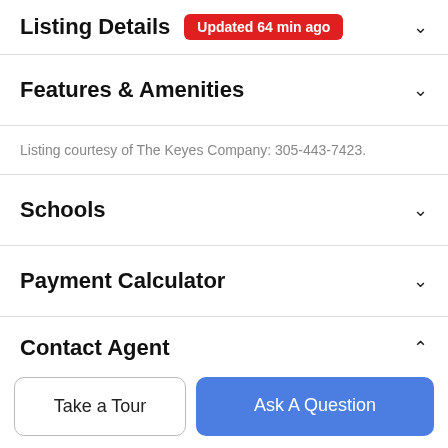Listing Details Updated 64 min ago
Features & Amenities
Listing courtesy of The Keyes Company: 305-443-7423.
Schools
Payment Calculator
Contact Agent
[Figure (photo): Circular portrait photo of a female real estate agent with dark hair]
Take a Tour
Ask A Question